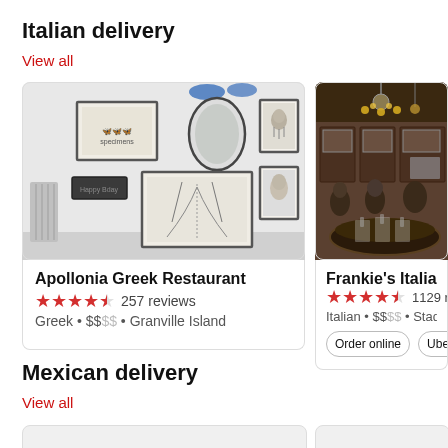Italian delivery
View all
[Figure (photo): Interior of Apollonia Greek Restaurant showing white walls with framed art prints and a white radiator]
Apollonia Greek Restaurant
★★★★½  257 reviews
Greek • $$ • Granville Island
[Figure (photo): Interior of Frankie's Italian Kitchen showing dark wood dining room with chandelier lighting and round tables]
Frankie's Italian Kitch...
★★★★½  1129 rev...
Italian • $$ • Stadium D...
Order online  Uber
Mexican delivery
View all